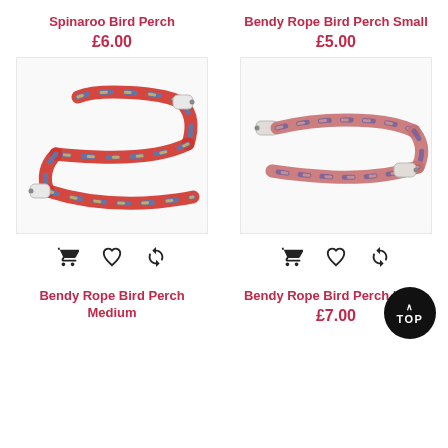Spinaroo Bird Perch
£6.00
Bendy Rope Bird Perch Small
£5.00
[Figure (photo): Colorful braided rope bird perch with white end caps, shaped in an S-curve. Colors: red, blue, yellow, white.]
[Figure (photo): Braided rope bird perch with white end caps, in pink, coral, and purple/dark colors, shaped in a loop/S-curve.]
Bendy Rope Bird Perch Medium
Bendy Rope Bird Perch Large
£7.00